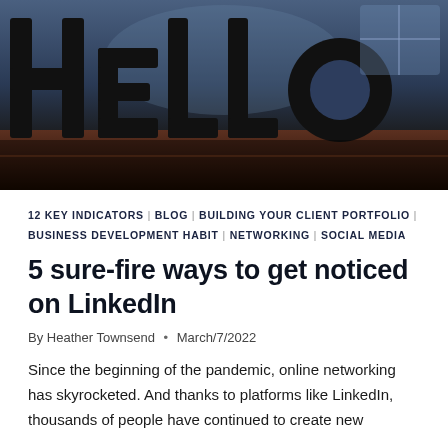[Figure (photo): Dark photograph of large black 3D letters spelling 'Hello' on a reflective surface with a blurred background]
12 KEY INDICATORS | BLOG | BUILDING YOUR CLIENT PORTFOLIO | BUSINESS DEVELOPMENT HABIT | NETWORKING | SOCIAL MEDIA
5 sure-fire ways to get noticed on LinkedIn
By Heather Townsend • March/7/2022
Since the beginning of the pandemic, online networking has skyrocketed. And thanks to platforms like LinkedIn, thousands of people have continued to create new